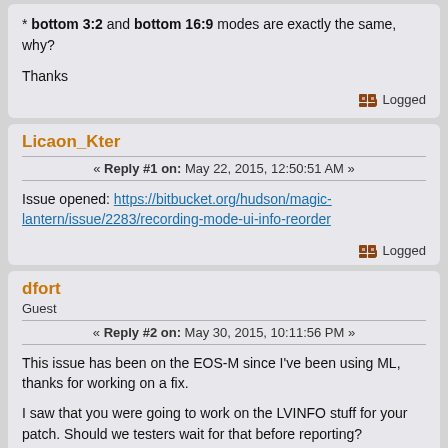* bottom 3:2 and bottom 16:9 modes are exactly the same, why?

Thanks
Logged
Licaon_Kter
« Reply #1 on: May 22, 2015, 12:50:51 AM »
Issue opened: https://bitbucket.org/hudson/magic-lantern/issue/2283/recording-mode-ui-info-reorder
Logged
dfort
Guest
« Reply #2 on: May 30, 2015, 10:11:56 PM »
This issue has been on the EOS-M since I've been using ML, thanks for working on a fix.

I saw that you were going to work on the LVINFO stuff for your patch. Should we testers wait for that before reporting?

I failed at my previous attempts at compiling ML on my Mac so I'll try